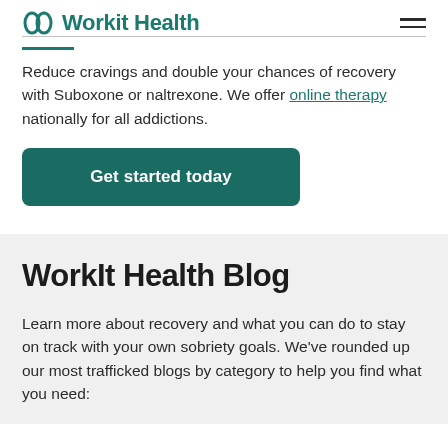Workit Health
Reduce cravings and double your chances of recovery with Suboxone or naltrexone. We offer online therapy nationally for all addictions.
[Figure (other): Get started today button — dark teal rounded rectangle CTA button]
WorkIt Health Blog
Learn more about recovery and what you can do to stay on track with your own sobriety goals. We've rounded up our most trafficked blogs by category to help you find what you need: